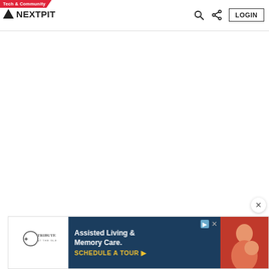Tech & Community | NEXTPIT | LOGIN
[Figure (screenshot): Large white blank content area below the NextPit navigation header]
[Figure (infographic): Advertisement banner for Tribute At The Glen - Assisted Living & Memory Care. Schedule A Tour button shown in yellow text on dark navy background, with a photo of an elderly person on the right.]